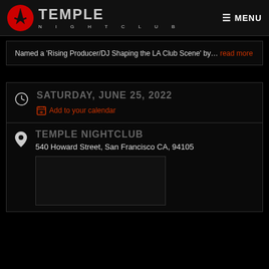TEMPLE NIGHTCLUB — MENU
Named a 'Rising Producer/DJ Shaping the LA Club Scene' by… read more
SATURDAY, JUNE 25, 2022
Add to your calendar
TEMPLE NIGHTCLUB
540 Howard Street, San Francisco CA, 94105